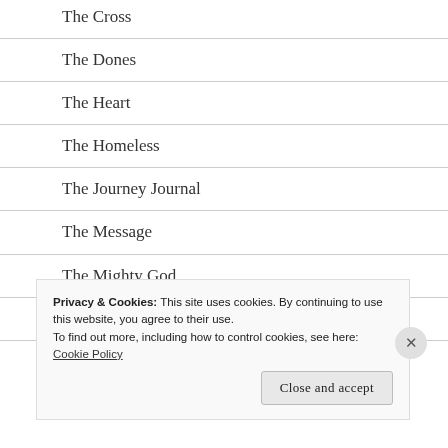The Cross
The Dones
The Heart
The Homeless
The Journey Journal
The Message
The Mighty God
The Nature Of God
The Nones
Privacy & Cookies: This site uses cookies. By continuing to use this website, you agree to their use.
To find out more, including how to control cookies, see here: Cookie Policy
Close and accept